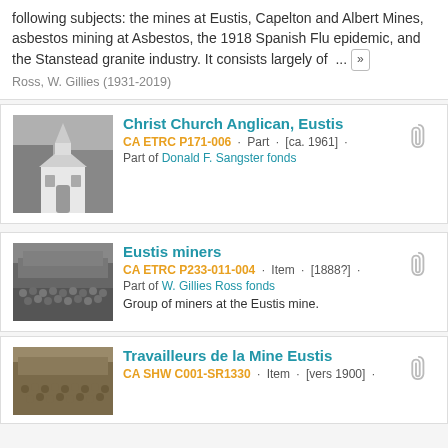following subjects: the mines at Eustis, Capelton and Albert Mines, asbestos mining at Asbestos, the 1918 Spanish Flu epidemic, and the Stanstead granite industry. It consists largely of ...
Ross, W. Gillies (1931-2019)
Christ Church Anglican, Eustis
CA ETRC P171-006 · Part · [ca. 1961] · Part of Donald F. Sangster fonds
[Figure (photo): Black and white photo of a white church with a steeple surrounded by trees]
Eustis miners
CA ETRC P233-011-004 · Item · [1888?] · Part of W. Gillies Ross fonds
Group of miners at the Eustis mine.
[Figure (photo): Black and white historical photo of a group of miners at Eustis mine]
Travailleurs de la Mine Eustis
CA SHW C001-SR1330 · Item · [vers 1900] ·
[Figure (photo): Sepia/vintage photo of workers at Eustis mine circa 1900]